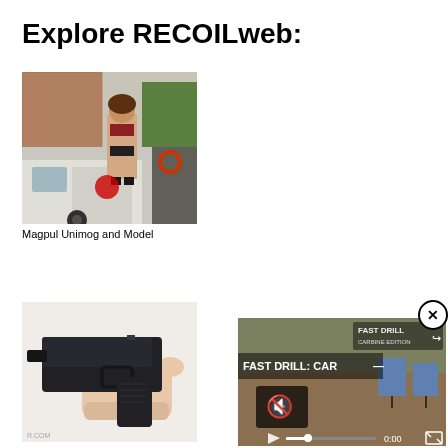Explore RECOILweb:
[Figure (photo): Woman in bikini and boots standing on top of a Magpul Unimog truck in an urban setting]
Magpul Unimog and Model
[Figure (photo): Hand holding a black Glock-style pistol against a white background with a watermark]
[Figure (screenshot): Video thumbnail showing FAST DRILL: CAR-- text with shooting targets on a dirt range, video controls visible including mute icon and play button, timestamp 0:00]